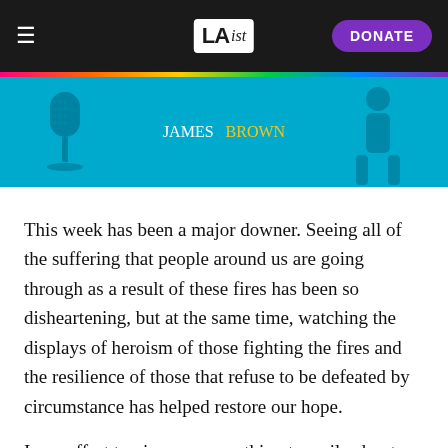LAist — DONATE
[Figure (illustration): Banner image with cyan/teal background showing silhouettes of performers and text 'JAMES BROWN' in white and yellow bold letters]
This week has been a major downer. Seeing all of the suffering that people around us are going through as a result of these fires has been so disheartening, but at the same time, watching the displays of heroism of those fighting the fires and the resilience of those that refuse to be defeated by circumstance has helped restore our hope.
In an effort to give you something to smile about, we've managed to get our hands on a few CDs